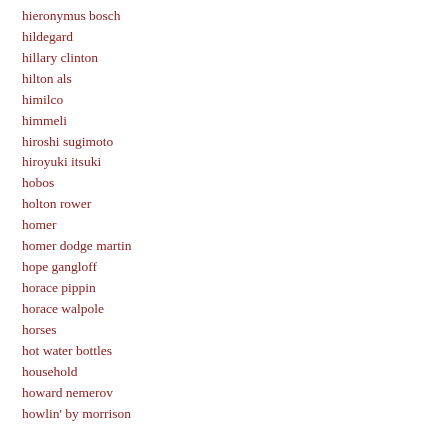hieronymus bosch
hildegard
hillary clinton
hilton als
himilco
himmeli
hiroshi sugimoto
hiroyuki itsuki
hobos
holton rower
homer
homer dodge martin
hope gangloff
horace pippin
horace walpole
horses
hot water bottles
household
howard nemerov
howlin' by morrison